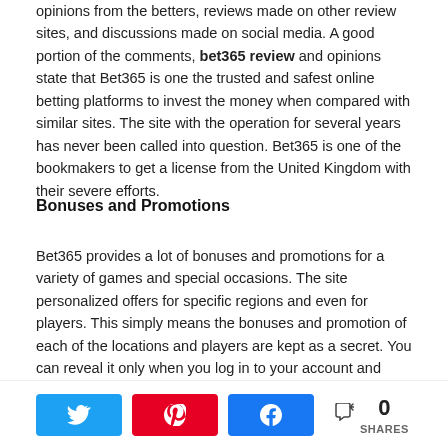opinions from the betters, reviews made on other review sites, and discussions made on social media. A good portion of the comments, bet365 review and opinions state that Bet365 is one the trusted and safest online betting platforms to invest the money when compared with similar sites. The site with the operation for several years has never been called into question. Bet365 is one of the bookmakers to get a license from the United Kingdom with their severe efforts.
Bonuses and Promotions
Bet365 provides a lot of bonuses and promotions for a variety of games and special occasions. The site personalized offers for specific regions and even for players. This simply means the bonuses and promotion of each of the locations and players are kept as a secret. You can reveal it only when you log in to your account and check the